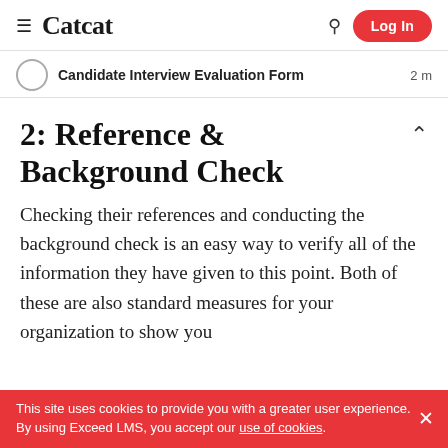Catcat  Log In
Candidate Interview Evaluation Form  2 m
2: Reference & Background Check
Checking their references and conducting the background check is an easy way to verify all of the information they have given to this point. Both of these are also standard measures for your organization to show you
This site uses cookies to provide you with a greater user experience. By using Exceed LMS, you accept our use of cookies.